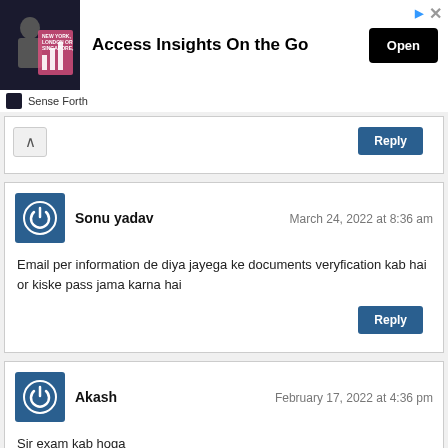[Figure (screenshot): Advertisement banner for 'Access Insights On the Go' by Sense Forth, with an image of a man in a suit with New York, London, Singapore text, and an Open button]
Sonu yadav
March 24, 2022 at 8:36 am
Email per information de diya jayega ke documents veryfication kab hai or kiske pass jama karna hai
Akash
February 17, 2022 at 4:36 pm
Sir exam kab hoga